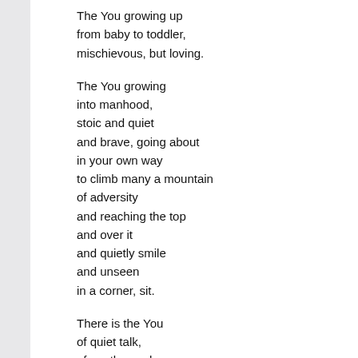The You growing up
from baby to toddler,
mischievous, but loving.
The You growing
into manhood,
stoic and quiet
and brave, going about
in your own way
to climb many a mountain
of adversity
and reaching the top
and over it
and quietly smile
and unseen
in a corner, sit.
There is the You
of quiet talk,
of gentle words;
You of soft
under the breath swearing,